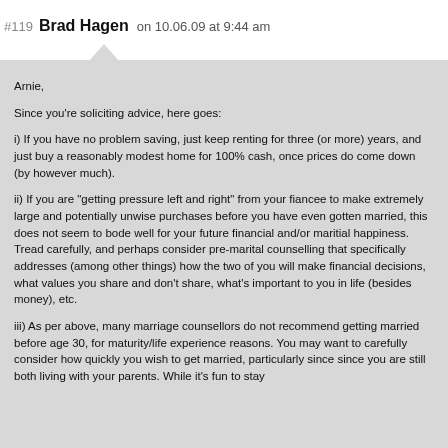#119 Brad Hagen on 10.06.09 at 9:44 am
Arnie,

Since you're soliciting advice, here goes:

i) If you have no problem saving, just keep renting for three (or more) years, and just buy a reasonably modest home for 100% cash, once prices do come down (by however much).

ii) If you are "getting pressure left and right" from your fiancee to make extremely large and potentially unwise purchases before you have even gotten married, this does not seem to bode well for your future financial and/or maritial happiness. Tread carefully, and perhaps consider pre-marital counselling that specifically addresses (among other things) how the two of you will make financial decisions, what values you share and don't share, what's important to you in life (besides money), etc.

iii) As per above, many marriage counsellors do not recommend getting married before age 30, for maturity/life experience reasons. You may want to carefully consider how quickly you wish to get married, particularly since since you are still both living with your parents. While it's fun to stay